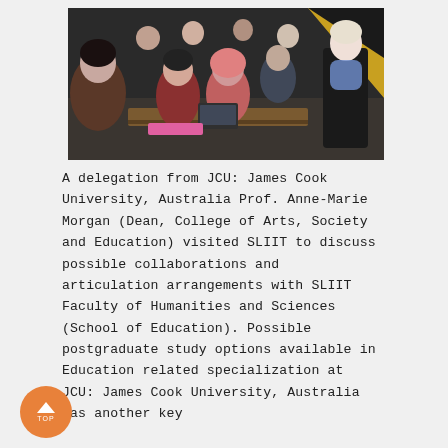[Figure (photo): A classroom scene with students seated at desks and a woman in a black dress with a blue scarf standing at the front. The room has dark walls with geometric yellow and black accents.]
A delegation from JCU: James Cook University, Australia Prof. Anne-Marie Morgan (Dean, College of Arts, Society and Education) visited SLIIT to discuss possible collaborations and articulation arrangements with SLIIT Faculty of Humanities and Sciences (School of Education). Possible postgraduate study options available in Education related specialization at JCU: James Cook University, Australia was another key